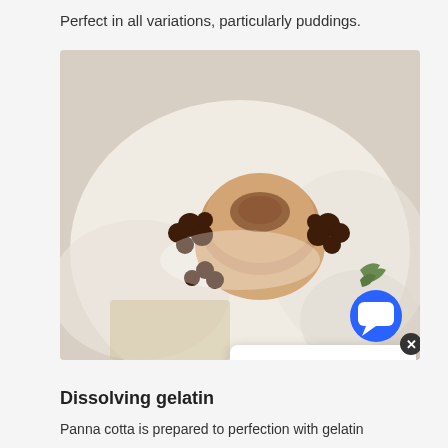Perfect in all variations, particularly puddings.
[Figure (photo): Overhead photo of a panna cotta dessert on a white plate, topped with cocoa powder and surrounded by chocolate pieces, with a sprig of herbs. A chat widget overlay reads: 'Hey there, have a question? Chat with us!' with a Designer Home Supply logo and a blue circular chat button.]
Dissolving gelatin
Panna cotta is prepared to perfection with gelatin